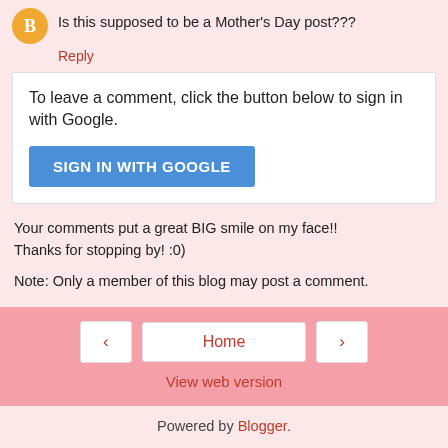Is this supposed to be a Mother's Day post???
Reply
To leave a comment, click the button below to sign in with Google.
SIGN IN WITH GOOGLE
Your comments put a great BIG smile on my face!! Thanks for stopping by! :0)
Note: Only a member of this blog may post a comment.
Home
View web version
Powered by Blogger.